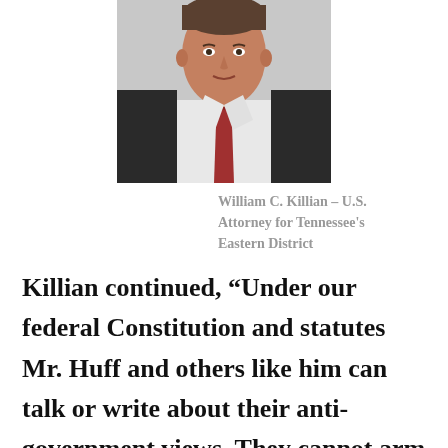[Figure (photo): Portrait photo of William C. Killian, a man in a dark suit with a red tie, white shirt, against a white background.]
William C. Killian – U.S. Attorney for Tennessee's Eastern District
Killian continued, “Under our federal Constitution and statutes Mr. Huff and others like him can talk or write about their anti-government views. They cannot arm themselves and make threats to arrest public officials and takeover